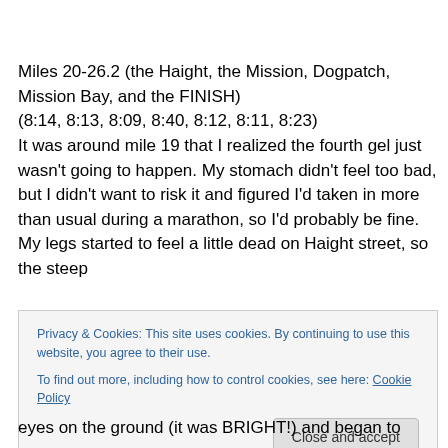Miles 20-26.2 (the Haight, the Mission, Dogpatch, Mission Bay, and the FINISH)
(8:14, 8:13, 8:09, 8:40, 8:12, 8:11, 8:23)
It was around mile 19 that I realized the fourth gel just wasn't going to happen. My stomach didn't feel too bad, but I didn't want to risk it and figured I'd taken in more than usual during a marathon, so I'd probably be fine. My legs started to feel a little dead on Haight street, so the steep
Privacy & Cookies: This site uses cookies. By continuing to use this website, you agree to their use.
To find out more, including how to control cookies, see here: Cookie Policy
eyes on the ground (it was BRIGHT!) and began to